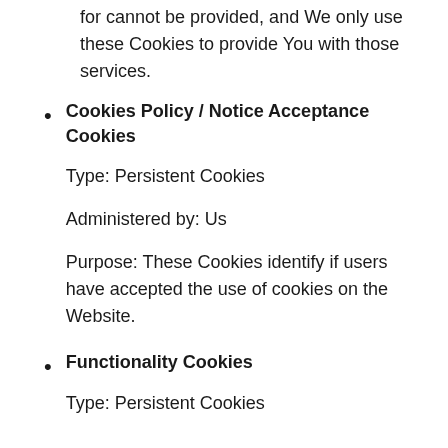for cannot be provided, and We only use these Cookies to provide You with those services.
Cookies Policy / Notice Acceptance Cookies

Type: Persistent Cookies

Administered by: Us

Purpose: These Cookies identify if users have accepted the use of cookies on the Website.
Functionality Cookies

Type: Persistent Cookies